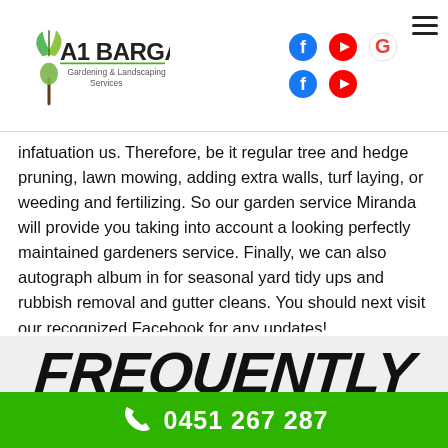A1 Bargain Gardening & Landscaping Services — header with logo and social icons
infatuation us. Therefore, be it regular tree and hedge pruning, lawn mowing, adding extra walls, turf laying, or weeding and fertilizing. So our garden service Miranda will provide you taking into account a looking perfectly maintained gardeners service. Finally, we can also autograph album in for seasonal yard tidy ups and rubbish removal and gutter cleans. You should next visit our recognized Facebook for any updates!
FREQUENTLY
0451 267 287